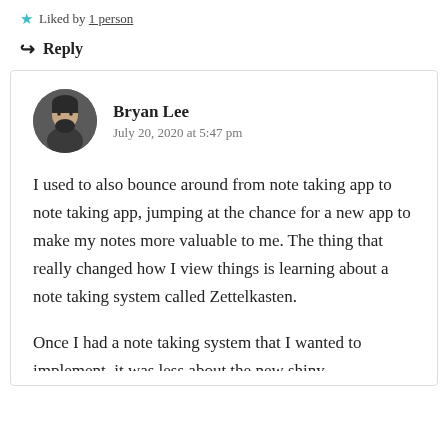★ Liked by 1 person
↪ Reply
Bryan Lee
July 20, 2020 at 5:47 pm
I used to also bounce around from note taking app to note taking app, jumping at the chance for a new app to make my notes more valuable to me. The thing that really changed how I view things is learning about a note taking system called Zettelkasten.
Once I had a note taking system that I wanted to implement, it was less about the new shiny…